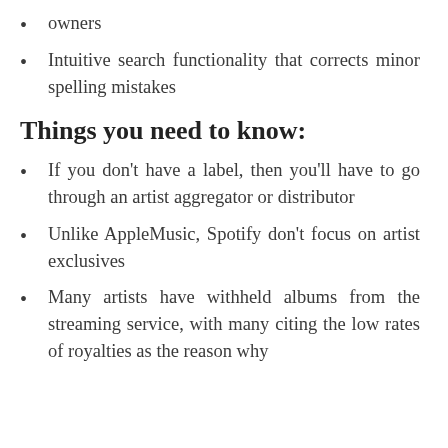owners
Intuitive search functionality that corrects minor spelling mistakes
Things you need to know:
If you don't have a label, then you'll have to go through an artist aggregator or distributor
Unlike AppleMusic, Spotify don't focus on artist exclusives
Many artists have withheld albums from the streaming service, with many citing the low rates of royalties as the reason why